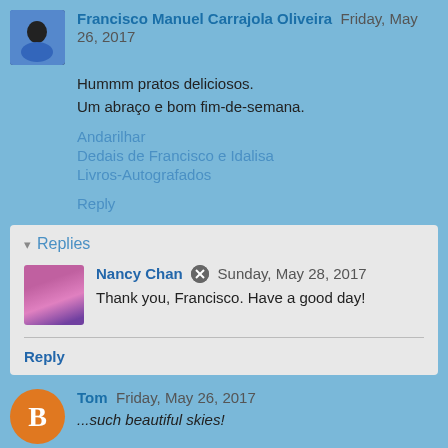Francisco Manuel Carrajola Oliveira Friday, May 26, 2017
Hummm pratos deliciosos.
Um abraço e bom fim-de-semana.
Andarilhar
Dedais de Francisco e Idalisa
Livros-Autografados
Reply
Replies
Nancy Chan Sunday, May 28, 2017
Thank you, Francisco. Have a good day!
Reply
Tom Friday, May 26, 2017
such beautiful skies!